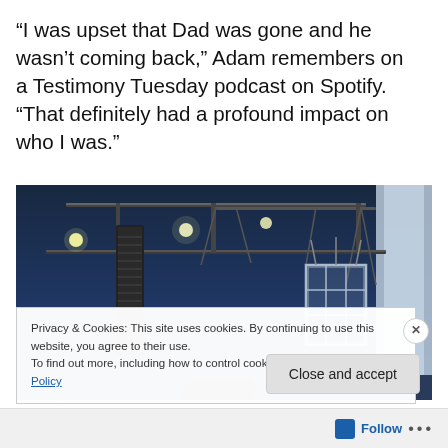“I was upset that Dad was gone and he wasn’t coming back,” Adam remembers on a Testimony Tuesday podcast on Spotify. “That definitely had a profound impact on who I was.”
[Figure (photo): Indoor venue/arena ceiling showing rigging, suspended speaker arrays, truss structures, stage lighting, and a suspended glass/metal cage or platform, with dark blue ceiling and overhead lights]
Privacy & Cookies: This site uses cookies. By continuing to use this website, you agree to their use.
To find out more, including how to control cookies, see here: Cookie Policy
Close and accept
Follow ...